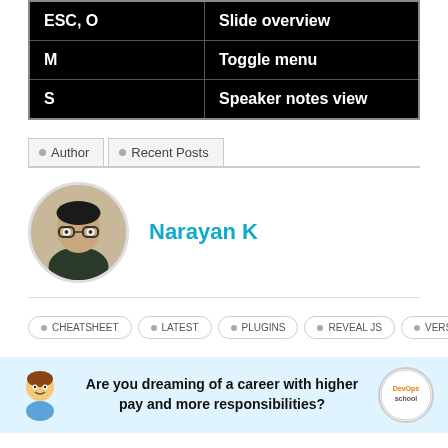| Key | Action |
| --- | --- |
| ESC, O | Slide overview |
| M | Toggle menu |
| S | Speaker notes view |
Author | Recent Posts
Narayan K
[Figure (photo): Circular profile photo of Narayan K, a man wearing glasses and a dark shirt]
CHEATSHEET • LATEST • PLUGINS • REVEAL JS • VERSION
Are you dreaming of a career with higher pay and more responsibilities?